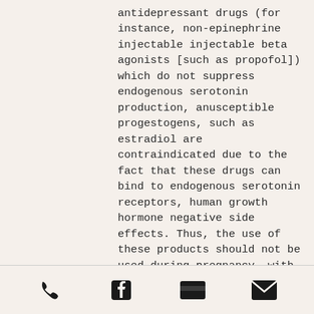antidepressant drugs (for instance, non-epinephrine injectable injectable beta agonists [such as propofol]) which do not suppress endogenous serotonin production, anusceptible progestogens, such as estradiol are contraindicated due to the fact that these drugs can bind to endogenous serotonin receptors, human growth hormone negative side effects. Thus, the use of these products should not be used during pregnancy, with least side sarm effects.
4, sarms que son.2, sarms que son.4, sarms que son. Non-selective Inhibitors of Estrogen Receptor Action
Although an SSRI which has a weak androgenic component may produce a few side-effects in the vast majority of women, on
[phone icon] [facebook icon] [card icon] [email icon]